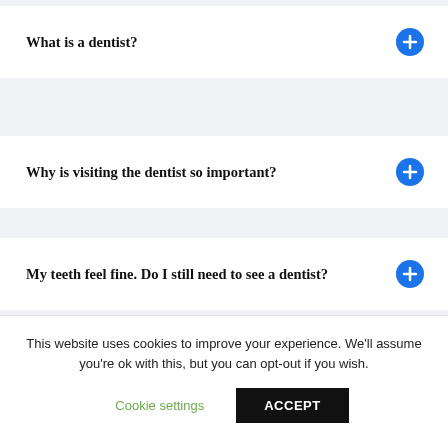What is a dentist?
Why is visiting the dentist so important?
My teeth feel fine. Do I still need to see a dentist?
This website uses cookies to improve your experience. We'll assume you're ok with this, but you can opt-out if you wish.
Cookie settings
ACCEPT